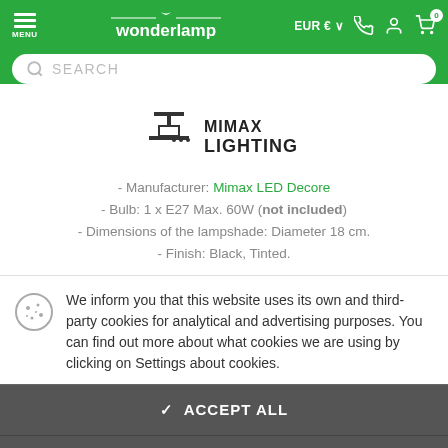[Figure (screenshot): Wonderlamp website header with green background, hamburger menu, wonderlamp logo, EUR currency selector, phone, account and cart icons, and a search bar]
[Figure (logo): Mimax Lighting brand logo with lamp icon and text MIMAX LIGHTING]
- Manufacturer: Mimax LED Decore
- Bulb: 1 x E27 Max. 60W (not included)
- Dimensions of the lampshade: Diameter 18 cm.
- Finish: Black, Tinted.
We inform you that this website uses its own and third-party cookies for analytical and advertising purposes. You can find out more about what cookies we are using by clicking on Settings about cookies.
✓ ACCEPT ALL
≡ CONFIGURE